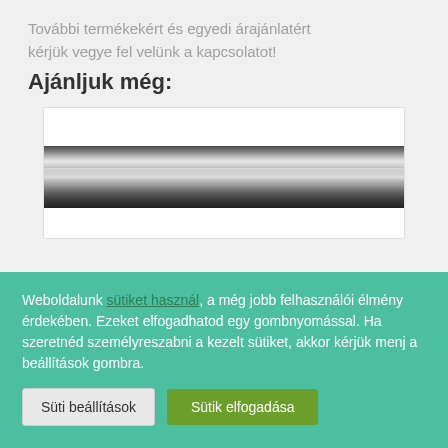További termékekért és egyedi árajánlatért kérjük vegye fel velünk a kapcsolatot!
Ajánljuk még:
[Figure (photo): Photo of a metallic horizontal bar or rail, showing a reflective chrome/steel profile strip]
Weboldalunk sütiket használ, a még jobb felhasználói élmény érdekében. Ezeket elfogadhatod egy gombnyomással. Ha szeretnéd személyreszabni a kezelt sütiket, akkor kérjük menj a beállítások gombra.
Süti beállítások
Sütik elfogadása